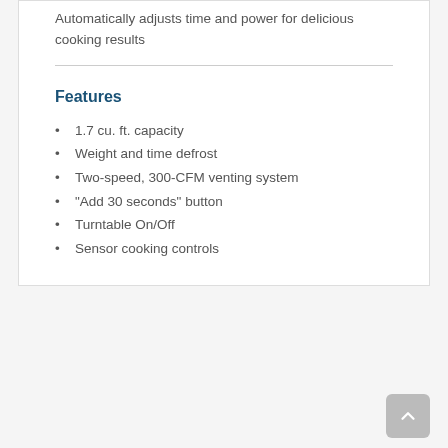Automatically adjusts time and power for delicious cooking results
Features
1.7 cu. ft. capacity
Weight and time defrost
Two-speed, 300-CFM venting system
"Add 30 seconds" button
Turntable On/Off
Sensor cooking controls